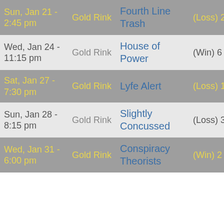| Date | Rink | Opponent | Result | 0 | 0 |
| --- | --- | --- | --- | --- | --- |
| Sun, Jan 21 - 2:45 pm | Gold Rink | Fourth Line Trash | (Loss) 2 - 6 | 0 | 0 |
| Wed, Jan 24 - 11:15 pm | Gold Rink | House of Power | (Win) 6 - 0 | 0 | 0 |
| Sat, Jan 27 - 7:30 pm | Gold Rink | Lyfe Alert | (Loss) 1 - 4 | 0 | 0 |
| Sun, Jan 28 - 8:15 pm | Gold Rink | Slightly Concussed | (Loss) 3 - 4 | 0 | 0 |
| Wed, Jan 31 - 6:00 pm | Gold Rink | Conspiracy Theorists | (Win) 2 - 0 | 0 | 0 |